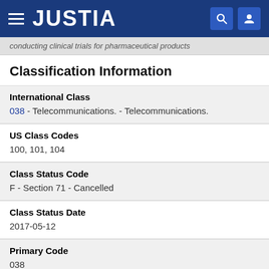JUSTIA
conducting clinical trials for pharmaceutical products
Classification Information
International Class
038 - Telecommunications. - Telecommunications.
US Class Codes
100, 101, 104
Class Status Code
F - Section 71 - Cancelled
Class Status Date
2017-05-12
Primary Code
038